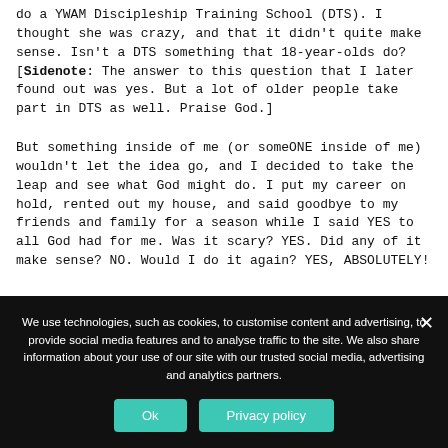do a YWAM Discipleship Training School (DTS). I thought she was crazy, and that it didn't quite make sense. Isn't a DTS something that 18-year-olds do? [Sidenote: The answer to this question that I later found out was yes. But a lot of older people take part in DTS as well. Praise God.]
But something inside of me (or someONE inside of me) wouldn't let the idea go, and I decided to take the leap and see what God might do. I put my career on hold, rented out my house, and said goodbye to my friends and family for a season while I said YES to all God had for me. Was it scary? YES. Did any of it make sense? NO. Would I do it again? YES, ABSOLUTELY!
We use technologies, such as cookies, to customise content and advertising, to provide social media features and to analyse traffic to the site. We also share information about your use of our site with our trusted social media, advertising and analytics partners.